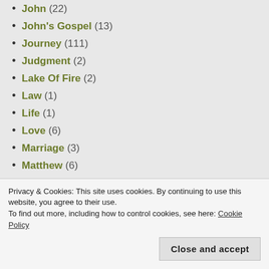John (22)
John's Gospel (13)
Journey (111)
Judgment (2)
Lake Of Fire (2)
Law (1)
Life (1)
Love (6)
Marriage (3)
Matthew (6)
Matthew And Israel (3)
Privacy & Cookies: This site uses cookies. By continuing to use this website, you agree to their use. To find out more, including how to control cookies, see here: Cookie Policy